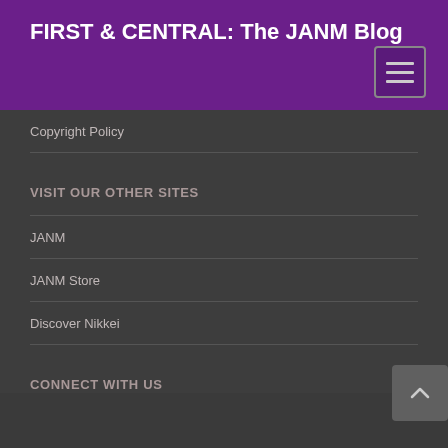FIRST & CENTRAL: The JANM Blog
Copyright Policy
VISIT OUR OTHER SITES
JANM
JANM Store
Discover Nikkei
CONNECT WITH US